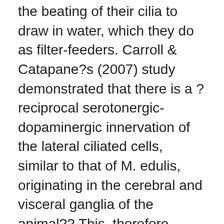the beating of their cilia to draw in water, which they do as filter-feeders. Carroll & Catapane?s (2007) study demonstrated that there is a ?reciprocal serotonergic-dopaminergic innervation of the lateral ciliated cells, similar to that of M. edulis, originating in the cerebral and visceral ganglia of the animal?? This, therefore, means that ganglia (their nervous system) regulates movement/behavior. Perhaps, like in mussels, oysters also have the ability to actively control, based on a form of decision-making, why they employ the types of ciliary movements they do. Regarding predation, ?Bivalves readily utilize chemical exudates that emanate from predators and from injured conspecifics to evaluate predation risk (Caro & Castilla 2004, Cheung et al. 2004, Smee & Weissburg 2006b) ?Bivalves et al. ?2011? based in the Bivalves...